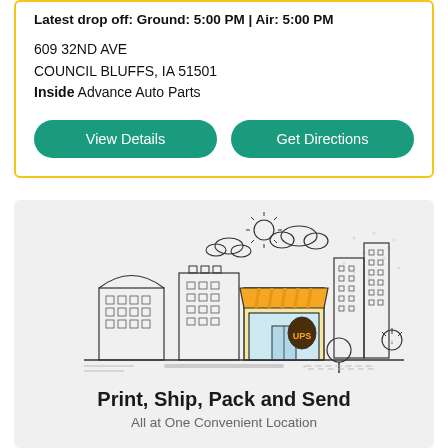Latest drop off: Ground: 5:00 PM | Air: 5:00 PM
609 32ND AVE
COUNCIL BLUFFS, IA 51501
Inside Advance Auto Parts
View Details
Get Directions
[Figure (illustration): Line art illustration of a city street scene with buildings and a UPS store in the center featuring a yellow awning and UPS shield logo]
Print, Ship, Pack and Send
All at One Convenient Location